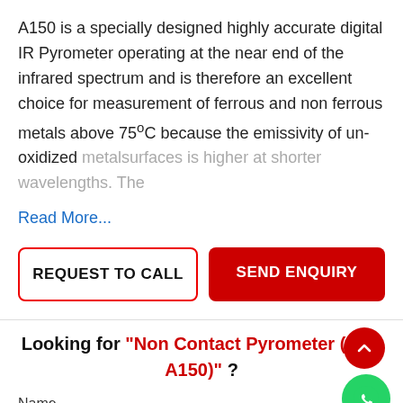A150 is a specially designed highly accurate digital IR Pyrometer operating at the near end of the infrared spectrum and is therefore an excellent choice for measurement of ferrous and non ferrous metals above 75°C because the emissivity of un-oxidized metalsurfaces is higher at shorter wavelengths. The
Read More...
REQUEST TO CALL
SEND ENQUIRY
Looking for "Non Contact Pyrometer (AST A150)" ?
Name
Name